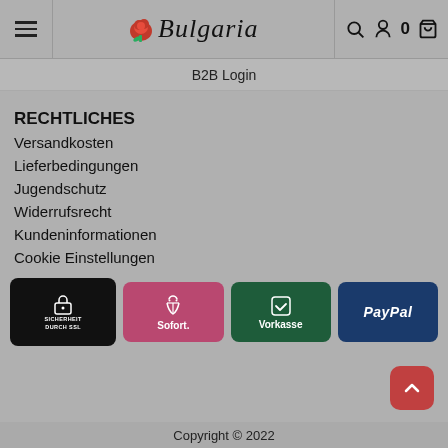Bulgaria — B2B Login
RECHTLICHES
Versandkosten
Lieferbedingungen
Jugendschutz
Widerrufsrecht
Kundeninformationen
Cookie Einstellungen
[Figure (logo): SSL security badge - black background with padlock icon and text SICHERHEIT DURCH SSL]
[Figure (logo): Sofort payment badge - pink/red background with peace hand icon and text Sofort.]
[Figure (logo): Vorkasse payment badge - dark green background with checkbox icon and text Vorkasse]
[Figure (logo): PayPal payment badge - dark blue background with PayPal text]
Copyright © 2022